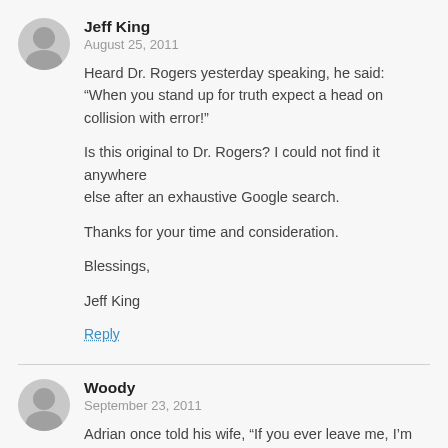Jeff King
August 25, 2011
Heard Dr. Rogers yesterday speaking, he said: “When you stand up for truth expect a head on collision with error!”

Is this original to Dr. Rogers? I could not find it anywhere
else after an exhaustive Google search.

Thanks for your time and consideration.

Blessings,

Jeff King
Reply
Woody
September 23, 2011
Adrian once told his wife, “If you ever leave me, I’m going with you”.